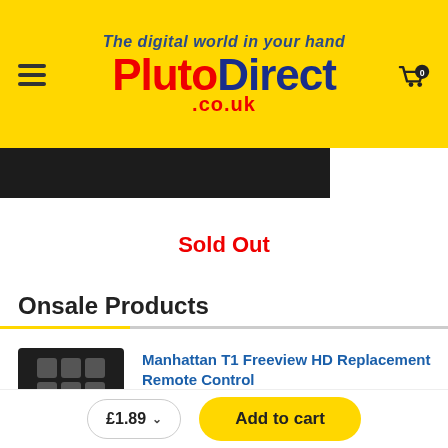The digital world in your hand PlutoDirect .co.uk
[Figure (photo): Partial product image - dark/black device shown at top]
Sold Out
Onsale Products
[Figure (photo): Manhattan T1 Freeview HD Replacement Remote Control product thumbnail showing grid of buttons]
Manhattan T1 Freeview HD Replacement Remote Control
£1.89 ∨  Add to cart